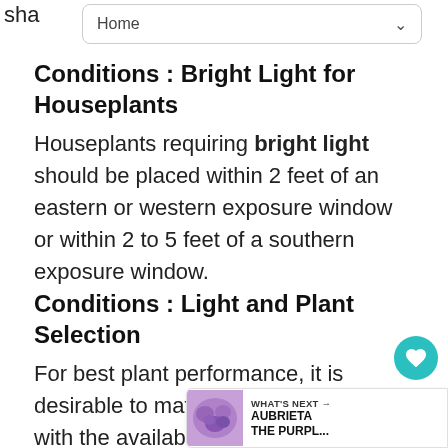sha
Home
Conditions : Bright Light for Houseplants
Houseplants requiring bright light should be placed within 2 feet of an eastern or western exposure window or within 2 to 5 feet of a southern exposure window.
Conditions : Light and Plant Selection
For best plant performance, it is desirable to match the correct plant with the available light conditions. Right plant, right place! Plants which do not receive sufficient light may become pale in color, have fewer leaves and a
[Figure (other): What's Next bar with Aubrieta The Purple plant thumbnail and navigation label]
[Figure (other): Heart/favorite button (teal circle with heart icon) and share button with count 1]